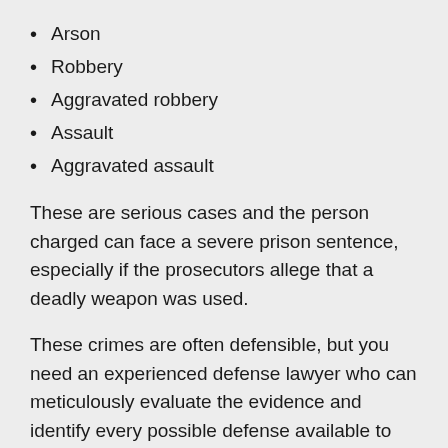Arson
Robbery
Aggravated robbery
Assault
Aggravated assault
These are serious cases and the person charged can face a severe prison sentence, especially if the prosecutors allege that a deadly weapon was used.
These crimes are often defensible, but you need an experienced defense lawyer who can meticulously evaluate the evidence and identify every possible defense available to you in your case.
Matt Bingham, a trusted violent crimes attorney in